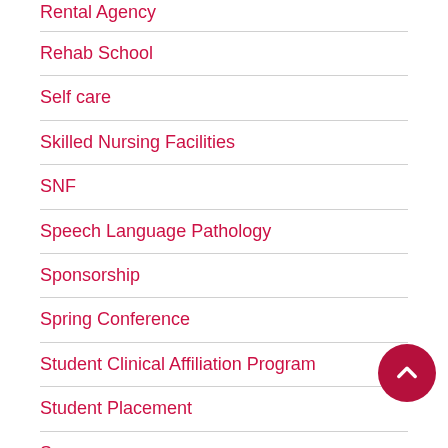Rental Agency
Rehab School
Self care
Skilled Nursing Facilities
SNF
Speech Language Pathology
Sponsorship
Spring Conference
Student Clinical Affiliation Program
Student Placement
Success
Technology